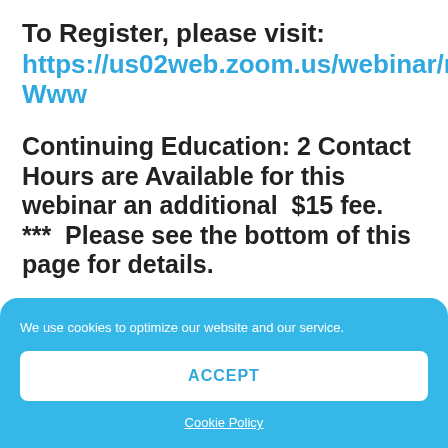To Register, please visit: https://us02web.zoom.us/webinar/register/WN_iBi4dz7cT1SLKDASw3-Www
Continuing Education: 2 Contact Hours are Available for this webinar an additional $15 fee. *** Please see the bottom of this page for details.
We use cookies to optimize our website and our service.
ACCEPT
Cookie Policy